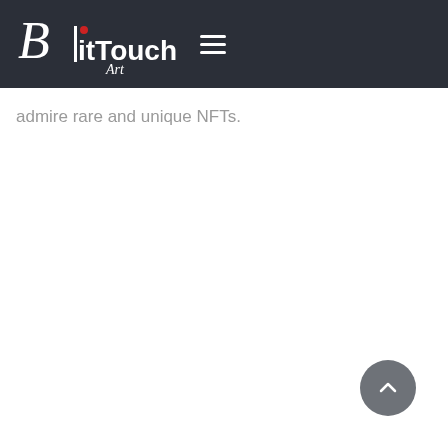[Figure (logo): BitTouch Art logo on dark navigation bar with hamburger menu icon]
admire rare and unique NFTs.